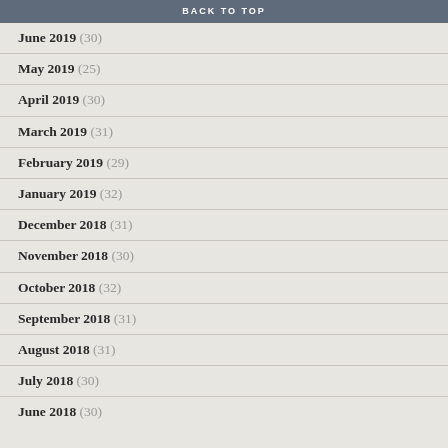BACK TO TOP
June 2019 (30)
May 2019 (25)
April 2019 (30)
March 2019 (31)
February 2019 (29)
January 2019 (32)
December 2018 (31)
November 2018 (30)
October 2018 (32)
September 2018 (31)
August 2018 (31)
July 2018 (30)
June 2018 (30)